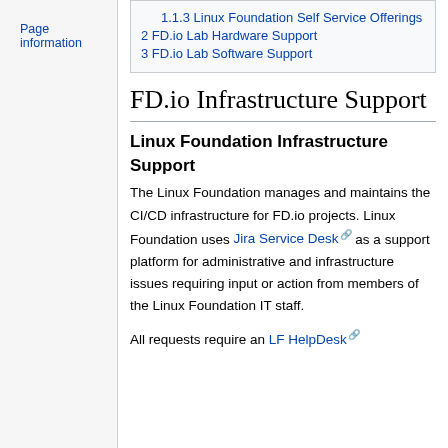Page information
1.1.3 Linux Foundation Self Service Offerings
2 FD.io Lab Hardware Support
3 FD.io Lab Software Support
FD.io Infrastructure Support
Linux Foundation Infrastructure Support
The Linux Foundation manages and maintains the CI/CD infrastructure for FD.io projects. Linux Foundation uses Jira Service Desk as a support platform for administrative and infrastructure issues requiring input or action from members of the Linux Foundation IT staff.
All requests require an LF HelpDesk